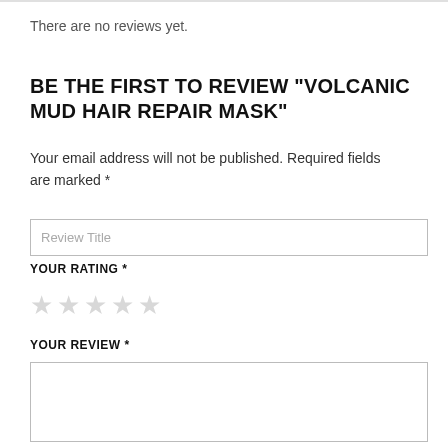There are no reviews yet.
BE THE FIRST TO REVIEW “VOLCANIC MUD HAIR REPAIR MASK”
Your email address will not be published. Required fields are marked *
Review Title
YOUR RATING *
YOUR REVIEW *